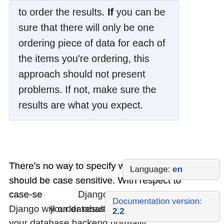to order the results. If you can be sure that there will only be one ordering piece of data for each of the items you're ordering, this approach should not present problems. If not, make sure the results are what you expect.
There's no way to specify whether ordering should be case sensitive. With respect to case-sensitivity, Django will order results however your database backend normally
Language: en
Documentation version: 2.2